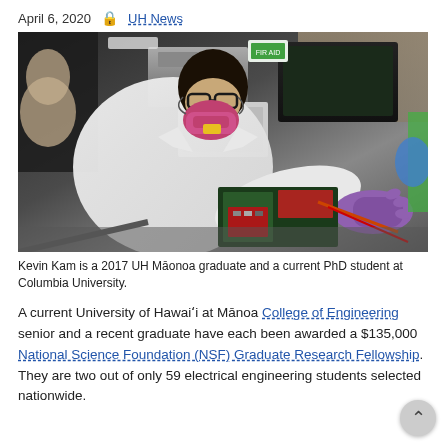April 6, 2020   UH News
[Figure (photo): Kevin Kam wearing a white lab coat and pink respirator mask, working with laboratory equipment and circuit boards. Another person visible in background. Purple gloved hands visible on right side.]
Kevin Kam is a 2017 UH Mānoa graduate and a current PhD student at Columbia University.
A current University of Hawaiʻi at Mānoa College of Engineering senior and a recent graduate have each been awarded a $135,000 National Science Foundation (NSF) Graduate Research Fellowship. They are two out of only 59 electrical engineering students selected nationwide.